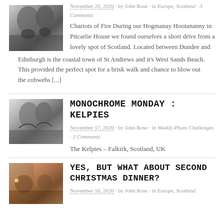[Figure (photo): Black and white photo of the Kelpies horse head sculptures against sky]
November 20, 2020 · by John Rose · in Europe, Scotland · 3 Comments
Chariots of Fire During our Hogmanay Hootananny in Pitcarlie House we found ourselves a short drive from a lovely spot of Scotland. Located between Dundee and Edinburgh is the coastal town of St Andrews and it's West Sands Beach. This provided the perfect spot for a brisk walk and chance to blow out the cobwebs [...]
[Figure (photo): Black and white photo of the Kelpies horse sculptures close-up]
MONOCHROME MONDAY : KELPIES
November 17, 2020 · by John Rose · in Weekly Photo Challenges · 2 Comments
The Kelpies – Falkirk, Scotland, UK
[Figure (photo): Indoor photo of two people, warm toned]
YES, BUT WHAT ABOUT SECOND CHRISTMAS DINNER?
November 16, 2020 · by John Rose · in Europe, Scotland